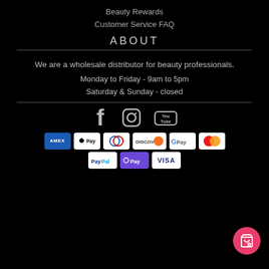Beauty Rewards
Customer Service FAQ
ABOUT
We are a wholesale distributor for beauty professionals.
Monday to Friday - 9am to 5pm
Saturday & Sunday - closed
[Figure (logo): Social media icons: Facebook, Instagram, YouTube]
[Figure (infographic): Payment method badges: AMEX, Apple Pay, Diners Club, Discover, Google Pay, Mastercard, PayPal, OPay, VISA]